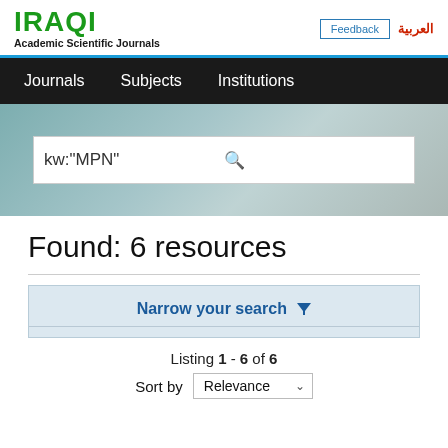IRAQI Academic Scientific Journals | Feedback | العربية
Journals  Subjects  Institutions
[Figure (screenshot): Search bar with query kw:"MPN" on a blurred background image]
Found: 6 resources
Narrow your search
Listing 1 - 6 of 6
Sort by  Relevance